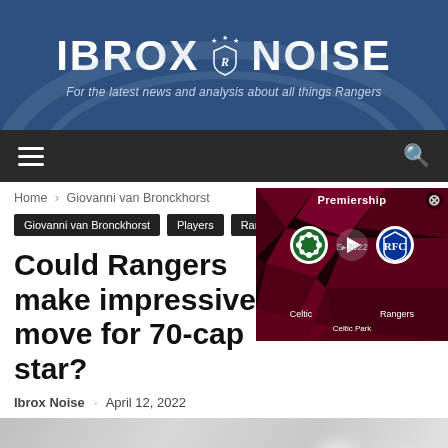IBROX NOISE — For the latest news and analysis about all things Rangers
Home › Giovanni van Bronckhorst
Giovanni van Bronckhorst
Players
Rangers
Could Rangers make impressive move for 70-cap star?
Ibrox Noise - April 12, 2022
[Figure (screenshot): Video popup overlay showing a Premiership match: Celtic vs Rangers at Celtic Park, with team badges and a play button on a dark red geometric background.]
[Figure (photo): Partial article image with grey/white bokeh background]